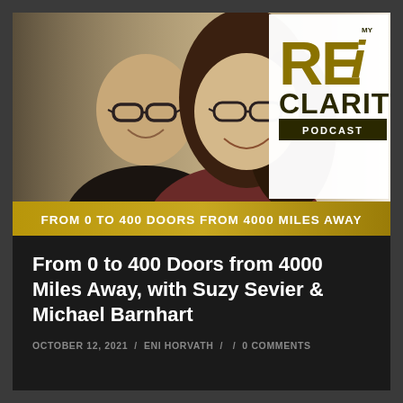[Figure (other): REI Clarity Podcast cover image showing two smiling people wearing glasses on a sepia-toned background. The REI Clarity Podcast logo appears in gold/olive text in the upper right. A gold banner across the bottom reads 'FROM 0 TO 400 DOORS FROM 4000 MILES AWAY'.]
From 0 to 400 Doors from 4000 Miles Away, with Suzy Sevier & Michael Barnhart
OCTOBER 12, 2021 / ENI HORVATH / / 0 COMMENTS